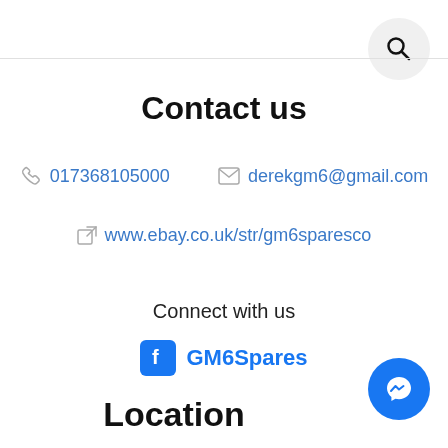[Figure (other): Search button circle with magnifying glass icon]
Contact us
017368105000   derekgm6@gmail.com
www.ebay.co.uk/str/gm6sparesco
Connect with us
GM6Spares
[Figure (other): Facebook Messenger chat button circle]
Location